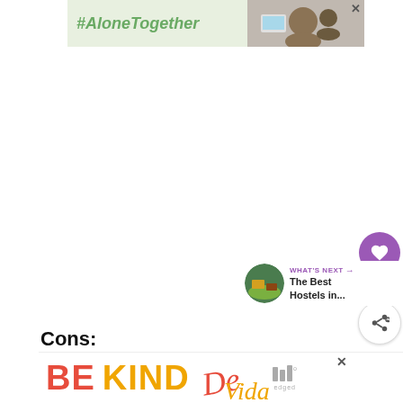[Figure (screenshot): Top advertisement banner with light green background showing '#AloneTogether' hashtag text in green italic, and a photo of a man and child waving at a laptop screen. Close button (X) in top right corner.]
[Figure (screenshot): Sidebar UI elements: purple circular heart/like button, count label '2', and white circular share button with share icon.]
[Figure (screenshot): WHAT'S NEXT callout with a thumbnail image and text 'The Best Hostels in...']
Cons:
[Figure (screenshot): Bottom advertisement banner showing large colorful 'BE KIND' text in red and orange/yellow, with decorative script and brand logo. Close (x) button visible.]